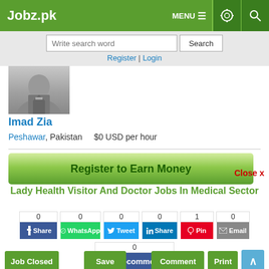Jobz.pk | MENU | Settings | Search
Write search word [Search] Register | Login
[Figure (photo): Profile photo of person in suit (grayscale)]
Imad Zia
Peshawar, Pakistan   $0 USD per hour
Register to Earn Money
Close x
Lady Health Visitor And Doctor Jobs In Medical Sector
0 Share | 0 WhatsApp | 0 Tweet | 0 Share | 1 Pin | 0 Email
0 Recommend
Job Closed | Save | Comment | Print